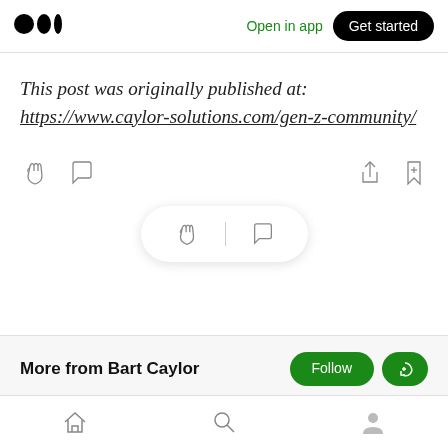Medium logo | Open in app | Get started
This post was originally published at: https://www.caylor-solutions.com/gen-z-community/
[Figure (screenshot): Action icons row: clap, comment on left; share, bookmark-plus on right]
[Figure (screenshot): Floating pill with clap and comment icons]
More from Bart Caylor
Bottom navigation bar: home, search, profile icons